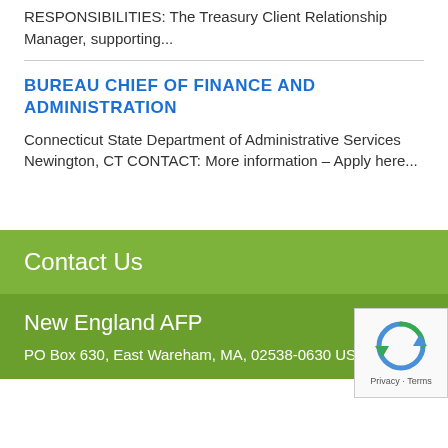RESPONSIBILITIES: The Treasury Client Relationship Manager, supporting...
BUREAU CHIEF OF FINANCE AND ADMINISTRATION
Connecticut State Department of Administrative Services Newington, CT CONTACT: More information – Apply here...
Contact Us
New England AFP
PO Box 630, East Wareham, MA, 02538-0630 USA